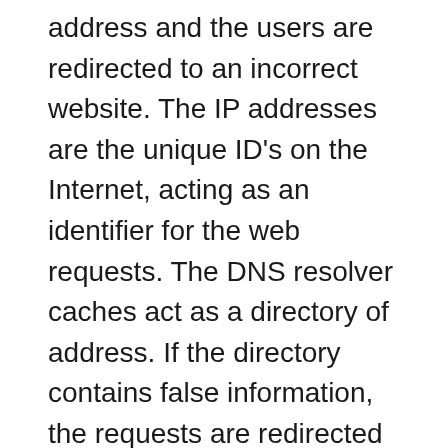address and the users are redirected to an incorrect website. The IP addresses are the unique ID's on the Internet, acting as an identifier for the web requests. The DNS resolver caches act as a directory of address. If the directory contains false information, the requests are redirected to the wrong address. Since there is no verification of the data by the DNS resolvers, the wrong DNS address remains in the cache until its corrected manually. Let's say your try to access twitter.com, your browser retrieves the IP address from DNS servers for the website. If the addresses are poisoned, the